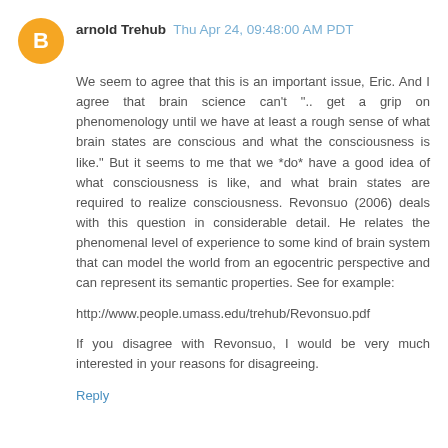arnold Trehub  Thu Apr 24, 09:48:00 AM PDT
We seem to agree that this is an important issue, Eric. And I agree that brain science can't ".. get a grip on phenomenology until we have at least a rough sense of what brain states are conscious and what the consciousness is like." But it seems to me that we *do* have a good idea of what consciousness is like, and what brain states are required to realize consciousness. Revonsuo (2006) deals with this question in considerable detail. He relates the phenomenal level of experience to some kind of brain system that can model the world from an egocentric perspective and can represent its semantic properties. See for example:
http://www.people.umass.edu/trehub/Revonsuo.pdf
If you disagree with Revonsuo, I would be very much interested in your reasons for disagreeing.
Reply